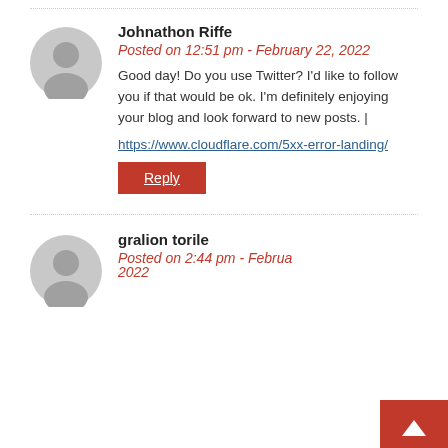Johnathon Riffe
Posted on 12:51 pm - February 22, 2022
Good day! Do you use Twitter? I'd like to follow you if that would be ok. I'm definitely enjoying your blog and look forward to new posts. |
https://www.cloudflare.com/5xx-error-landing/
Reply
gralion torile
Posted on 2:44 pm - Februa... 2022